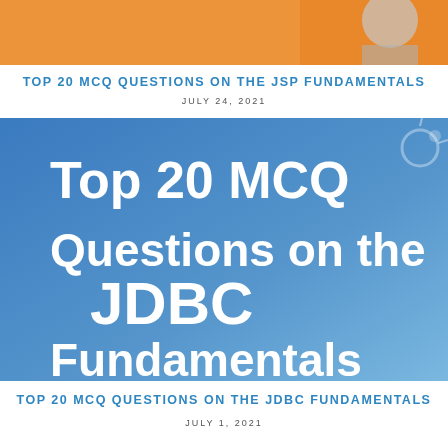[Figure (illustration): Partial orange banner image from a JSP fundamentals article, showing bottom portion only]
TOP 20 MCQ QUESTIONS ON THE JSP FUNDAMENTALS
JULY 24, 2021
[Figure (illustration): Blue gradient banner image with white bold text reading 'Top 20 MCQ Questions on the JDBC Fundamentals']
TOP 20 MCQ QUESTIONS ON THE JDBC FUNDAMENTALS
JULY 1, 2021